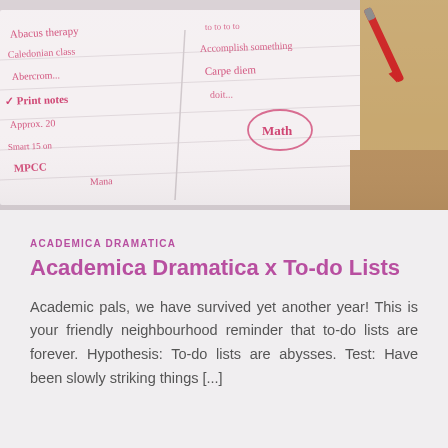[Figure (photo): Close-up photograph of a handwritten to-do list or notes in red ink on lined paper with a red pen visible in the upper right corner.]
ACADEMICA DRAMATICA
Academica Dramatica x To-do Lists
Academic pals, we have survived yet another year! This is your friendly neighbourhood reminder that to-do lists are forever. Hypothesis: To-do lists are abysses. Test: Have been slowly striking things [...]